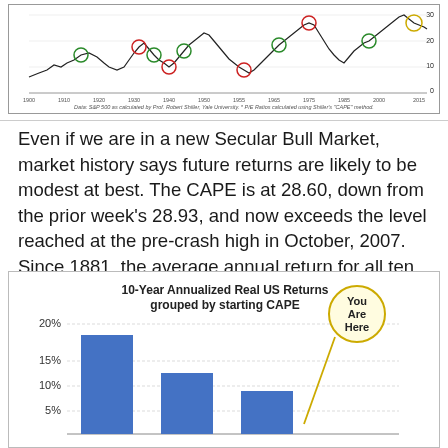[Figure (continuous-plot): Line chart showing S&P 500 CAPE values over time from approximately 1900 to 2015, with colored circles marking secular bull/bear market transitions. Y-axis shows values 0-30. Source: S&P 500 as calculated by Prof. Robert Shiller, Yale University. P/E ratios calculated using Shiller's CAPE method.]
Data: S&P 500 as calculated by Prof. Robert Shiller, Yale University. * P/E Ratios calculated using Shiller's "CAPE" method.
Even if we are in a new Secular Bull Market, market history says future returns are likely to be modest at best. The CAPE is at 28.60, down from the prior week’s 28.93, and now exceeds the level reached at the pre-crash high in October, 2007. Since 1881, the average annual return for all ten year periods that began with a CAPE around this level have been just 3%/yr (see Fig. 2).
[Figure (bar-chart): Bar chart showing 10-Year Annualized Real US Returns grouped by starting CAPE. Bars decrease as CAPE increases. Y-axis: 0-20%. Annotation 'You Are Here' with yellow circle pointing to high CAPE bar area.]